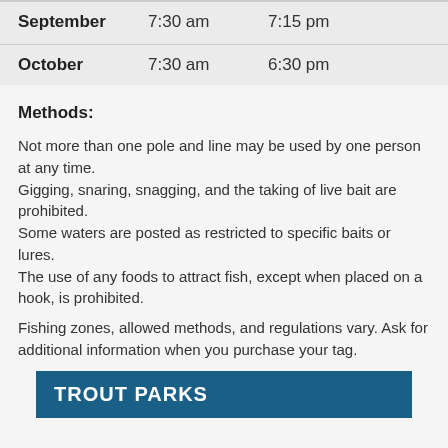| Month | Open | Close |
| --- | --- | --- |
| September | 7:30 am | 7:15 pm |
| October | 7:30 am | 6:30 pm |
Methods:
Not more than one pole and line may be used by one person at any time.
Gigging, snaring, snagging, and the taking of live bait are prohibited.
Some waters are posted as restricted to specific baits or lures.
The use of any foods to attract fish, except when placed on a hook, is prohibited.
Fishing zones, allowed methods, and regulations vary. Ask for additional information when you purchase your tag.
TROUT PARKS